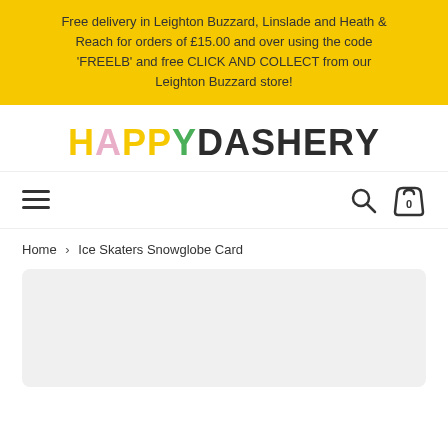Free delivery in Leighton Buzzard, Linslade and Heath & Reach for orders of £15.00 and over using the code 'FREELB' and free CLICK AND COLLECT from our Leighton Buzzard store!
[Figure (logo): HappyDashery logo in multicolored bold text]
[Figure (other): Navigation bar with hamburger menu, search icon, and cart icon showing 0]
Home > Ice Skaters Snowglobe Card
[Figure (photo): Product image placeholder area with light grey background]